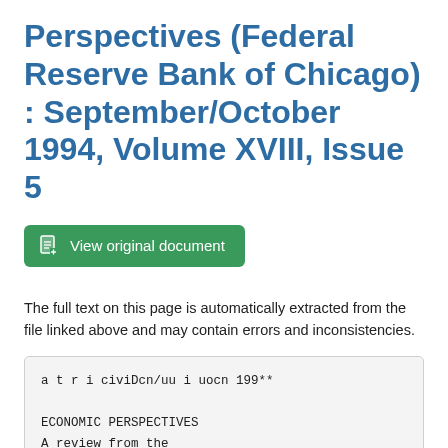Perspectives (Federal Reserve Bank of Chicago) : September/October 1994, Volume XVIII, Issue 5
View original document
The full text on this page is automatically extracted from the file linked above and may contain errors and inconsistencies.
a t r i civiDcn/uu i uocn 199**

ECONOMIC PERSPECTIVES
A review from the
Federal Reserve Bank